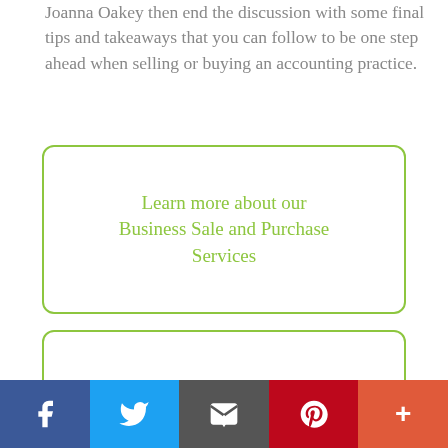Joanna Oakey then end the discussion with some final tips and takeaways that you can follow to be one step ahead when selling or buying an accounting practice.
Learn more about our Business Sale and Purchase Services
Book a FREE 20-minute discussion with one of our specialist lawyers